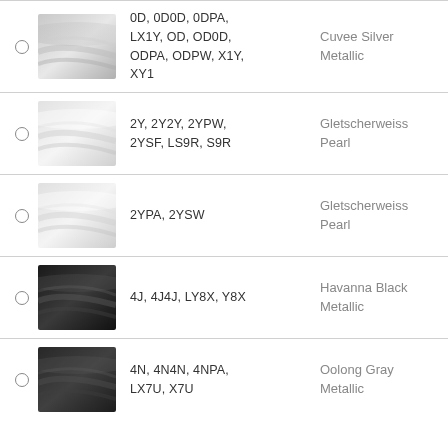0D, 0D0D, 0DPA, LX1Y, OD, OD0D, ODPA, ODPW, X1Y, XY1 — Cuvee Silver Metallic
2Y, 2Y2Y, 2YPW, 2YSF, LS9R, S9R — Gletscherweiss Pearl
2YPA, 2YSW — Gletscherweiss Pearl
4J, 4J4J, LY8X, Y8X — Havanna Black Metallic
4N, 4N4N, 4NPA, LX7U, X7U — Oolong Gray Metallic